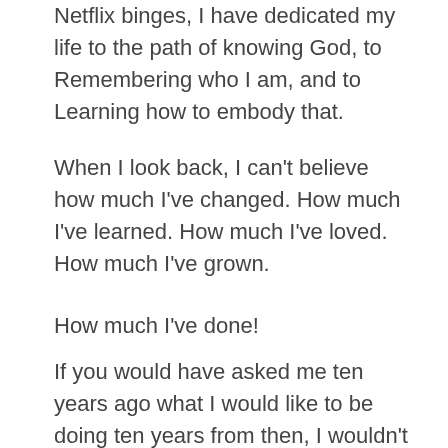Netflix binges, I have dedicated my life to the path of knowing God, to Remembering who I am, and to Learning how to embody that.
When I look back, I can’t believe how much I’ve changed. How much I’ve learned. How much I’ve loved. How much I’ve grown.
How much I’ve done!
If you would have asked me ten years ago what I would like to be doing ten years from then, I wouldn’t have been able to tell you about what I have done or what I do now, because I didn’t even know it existed or was possible.